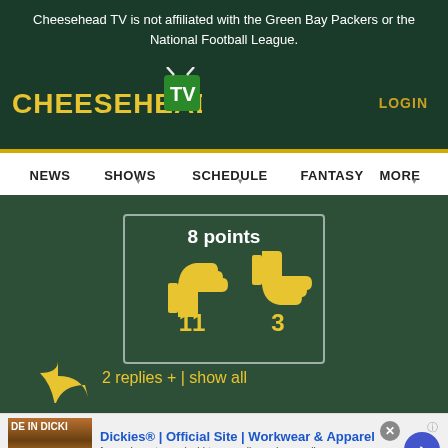Cheesehead TV is not affiliated with the Green Bay Packers or the National Football League.
[Figure (logo): Cheesehead TV logo with yellow text and TV icon]
LOGIN
[Figure (infographic): Navigation bar with NEWS, SHOWS, SCHEDULE, FANTASY, MORE menu items]
[Figure (infographic): Vote box showing 8 points with thumbs up (11) and thumbs down (3) icons on dark green background]
2 replies +  | show all
[Figure (infographic): Advertisement for Dickies Official Site - Workwear and Apparel. 'for work pants, work shirts, overalls, and coveralls. www.dickies.com']